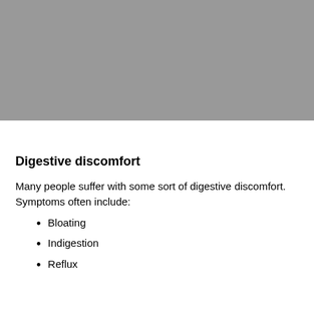[Figure (photo): Gray rectangular image placeholder at top of page]
Digestive discomfort
Many people suffer with some sort of digestive discomfort.  Symptoms often include:
Bloating
Indigestion
Reflux